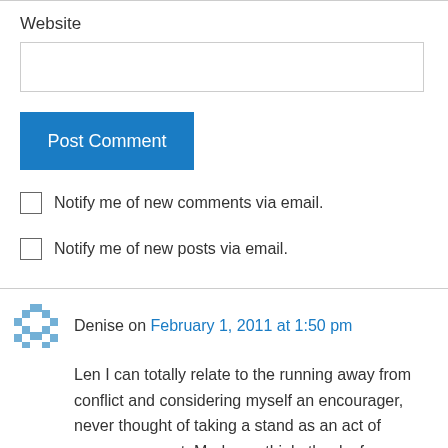Website
Post Comment
Notify me of new comments via email.
Notify me of new posts via email.
Denise on February 1, 2011 at 1:50 pm
Len I can totally relate to the running away from conflict and considering myself an encourager, never thought of taking a stand as an act of encouragement. Made me think, thanks for